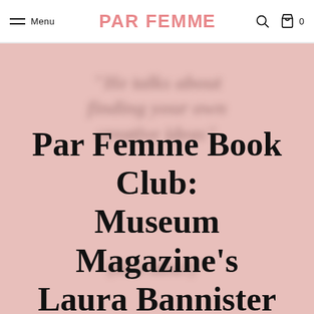Menu | PAR FEMME | Search | Cart 0
[Figure (screenshot): Pink hero background with blurred italic text watermark behind the main article title]
Par Femme Book Club: Museum Magazine's Laura Bannister